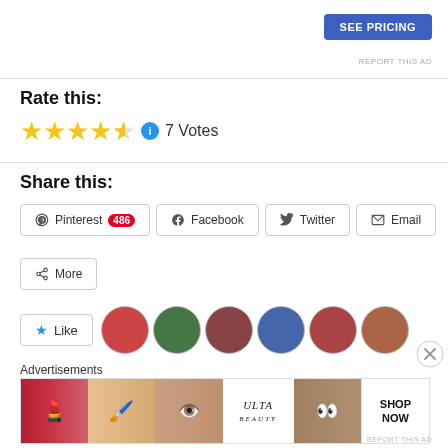[Figure (other): Blue 'SEE PRICING' button in top right area]
REPORT THIS AD
Rate this:
[Figure (other): 4.5 out of 5 stars rating with info icon and '7 Votes' text]
Share this:
Pinterest 486
Facebook
Twitter
Email
More
[Figure (other): Like button and row of user avatar photos]
Advertisements
[Figure (other): Ulta Beauty advertisement banner with makeup imagery and SHOP NOW text]